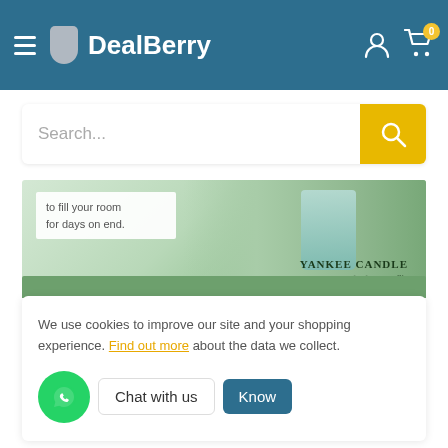[Figure (screenshot): DealBerry website header with teal/blue background, hamburger menu icon, DealBerry logo, user icon, and shopping cart icon with badge showing 0]
[Figure (screenshot): Search bar with 'Search...' placeholder text and yellow search button with magnifying glass icon]
[Figure (photo): Yankee Candle promotional banner image showing a green candle jar with mint/herb leaves and text 'to fill your room for days on end.']
We use cookies to improve our site and your shopping experience. Find out more about the data we collect.
[Figure (screenshot): WhatsApp chat button (green circle with phone icon), 'Chat with us' bubble, and 'Know' teal button]